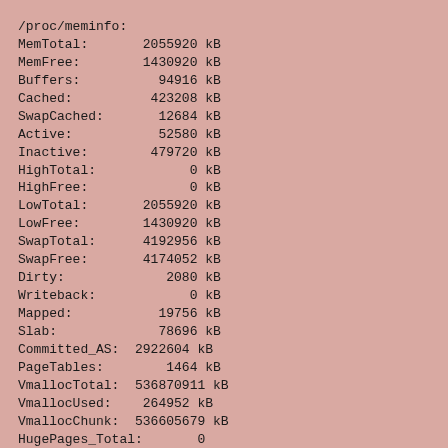/proc/meminfo:
MemTotal:       2055920 kB
MemFree:        1430920 kB
Buffers:          94916 kB
Cached:          423208 kB
SwapCached:       12684 kB
Active:           52580 kB
Inactive:        479720 kB
HighTotal:            0 kB
HighFree:             0 kB
LowTotal:       2055920 kB
LowFree:        1430920 kB
SwapTotal:      4192956 kB
SwapFree:       4174052 kB
Dirty:             2080 kB
Writeback:            0 kB
Mapped:           19756 kB
Slab:             78696 kB
Committed_AS:  2922604 kB
PageTables:        1464 kB
VmallocTotal:  536870911 kB
VmallocUsed:    264952 kB
VmallocChunk:  536605679 kB
HugePages_Total:       0
HugePages_Free:        0
Hugepagesize:      2048 kB

Free space on /tmp at the end= 66336 MiB
End job on node17 at 2009-03-30 08:10:54